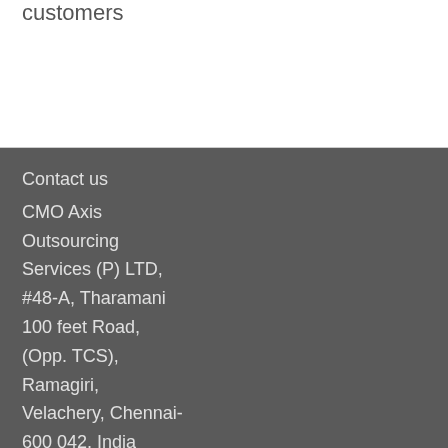customers
Contact us
CMO Axis Outsourcing Services (P) LTD, #48-A, Tharamani 100 feet Road, (Opp. TCS), Ramagiri, Velachery, Chennai-600 042, India
Tel : +9144 4232 5065